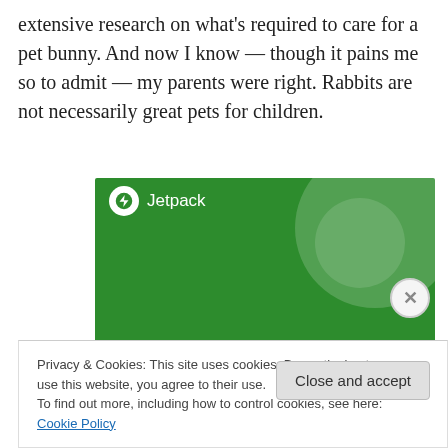extensive research on what's required to care for a pet bunny. And now I know — though it pains me so to admit — my parents were right. Rabbits are not necessarily great pets for children.
[Figure (advertisement): Jetpack advertisement banner with green background showing 'The best real-time WordPress backup plugin' text with Jetpack logo]
Privacy & Cookies: This site uses cookies. By continuing to use this website, you agree to their use.
To find out more, including how to control cookies, see here: Cookie Policy
Close and accept